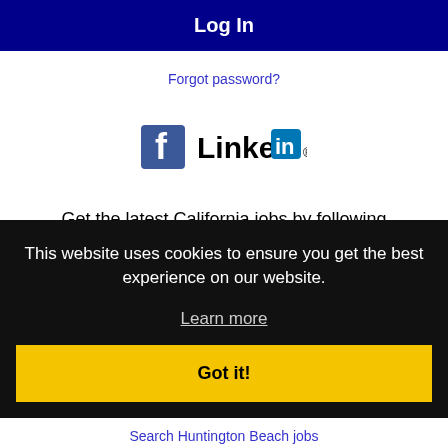Log In
Forgot password?
[Figure (logo): Facebook and LinkedIn logos shown as social login options]
Get the latest California jobs by following @recnetCA on Twitter!
This website uses cookies to ensure you get the best experience on our website.
Learn more
Got it!
Search Huntington Beach jobs